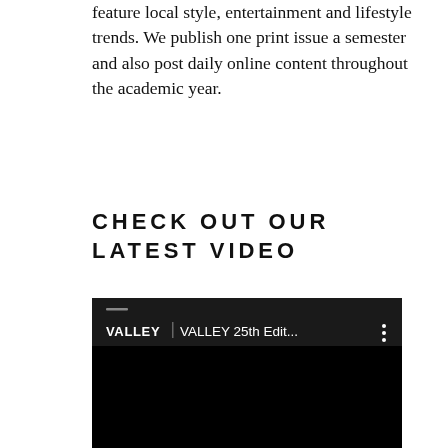feature local style, entertainment and lifestyle trends. We publish one print issue a semester and also post daily online content throughout the academic year.
CHECK OUT OUR LATEST VIDEO
[Figure (screenshot): Screenshot of a YouTube video player showing 'VALLEY 25th Edit...' with VALLEY logo on left and three-dot menu icon on right, video content area is black.]